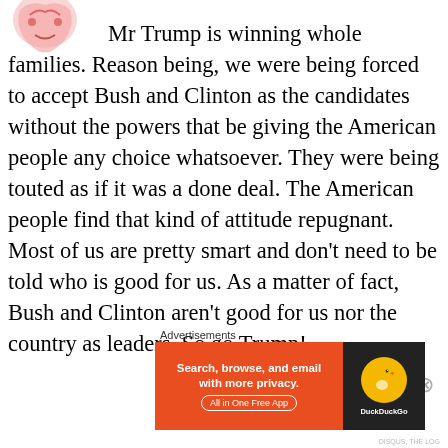[Figure (illustration): Partial view of a cartoon/illustrated image in top-left corner, pink tones]
Mr Trump is winning whole families. Reason being, we were being forced to accept Bush and Clinton as the candidates without the powers that be giving the American people any choice whatsoever. They were being touted as if it was a done deal. The American people find that kind of attitude repugnant. Most of us are pretty smart and don’t need to be told who is good for us. As a matter of fact, Bush and Clinton aren’t good for us nor the country as leaders. So go Trump!
Advertisements
[Figure (screenshot): DuckDuckGo advertisement banner: orange background with text 'Search, browse, and email with more privacy. All in One Free App' and DuckDuckGo logo on dark right side]